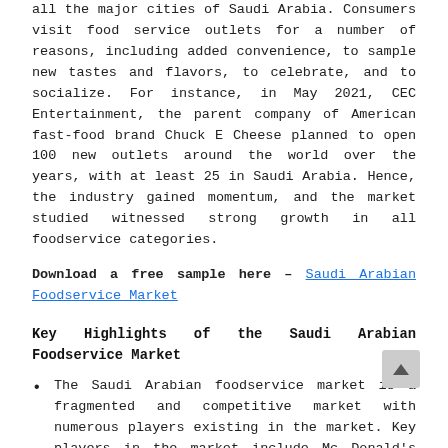all the major cities of Saudi Arabia. Consumers visit food service outlets for a number of reasons, including added convenience, to sample new tastes and flavors, to celebrate, and to socialize. For instance, in May 2021, CEC Entertainment, the parent company of American fast-food brand Chuck E Cheese planned to open 100 new outlets around the world over the years, with at least 25 in Saudi Arabia. Hence, the industry gained momentum, and the market studied witnessed strong growth in all foodservice categories.
Download a free sample here – Saudi Arabian Foodservice Market
Key Highlights of the Saudi Arabian Foodservice Market
The Saudi Arabian foodservice market is a fragmented and competitive market with numerous players existing in the market. Key players in the market include Mc Donald's Corporation, Yum!